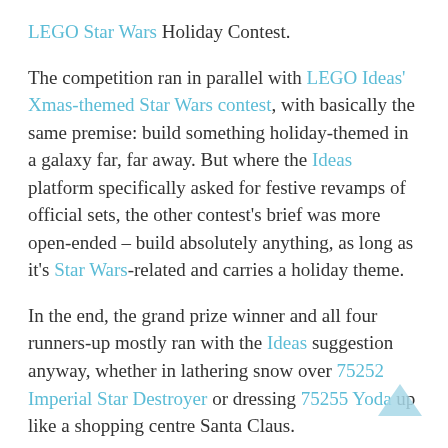LEGO Star Wars Holiday Contest.
The competition ran in parallel with LEGO Ideas' Xmas-themed Star Wars contest, with basically the same premise: build something holiday-themed in a galaxy far, far away. But where the Ideas platform specifically asked for festive revamps of official sets, the other contest's brief was more open-ended – build absolutely anything, as long as it's Star Wars-related and carries a holiday theme.
In the end, the grand prize winner and all four runners-up mostly ran with the Ideas suggestion anyway, whether in lathering snow over 75252 Imperial Star Destroyer or dressing 75255 Yoda up like a shopping centre Santa Claus.
Star Wars actor Kelly Marie Tran, LEGO Star Wars design director Jens Kronvold Frederiksen and